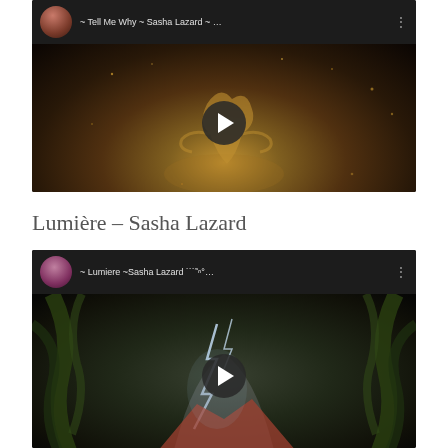[Figure (screenshot): YouTube video embed for 'Tell Me Why – Sasha Lazard' showing a dark background with a golden glowing dancer figure and sparkles, with a play button in the center]
Lumière – Sasha Lazard
[Figure (screenshot): YouTube video embed for 'Lumiere – Sasha Lazard' showing a dark fantasy scene with lightning, green vines/tentacles, and red mountains, with a play button in the center]